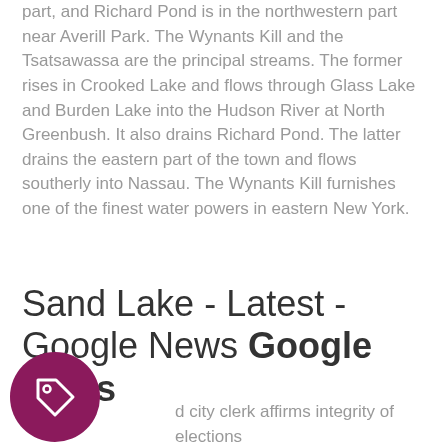part, and Richard Pond is in the northwestern part near Averill Park. The Wynants Kill and the Tsatsawassa are the principal streams. The former rises in Crooked Lake and flows through Glass Lake and Burden Lake into the Hudson River at North Greenbush. It also drains Richard Pond. The latter drains the eastern part of the town and flows southerly into Nassau. The Wynants Kill furnishes one of the finest water powers in eastern New York.
Sand Lake - Latest - Google News Google News
d city clerk affirms integrity of elections a candidate flags risk of fraud - Berkshire
[Figure (illustration): Circular dark magenta/purple tag icon button with a price tag SVG symbol in white, positioned in bottom left corner]